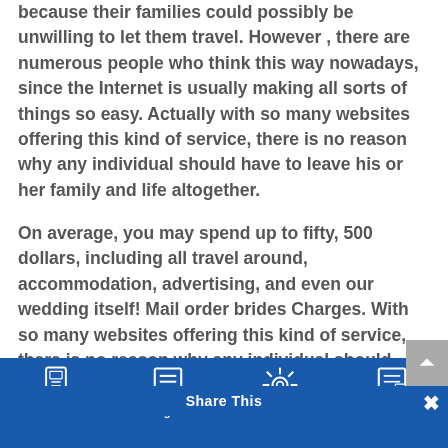because their families could possibly be unwilling to let them travel. However , there are numerous people who think this way nowadays, since the Internet is usually making all sorts of things so easy. Actually with so many websites offering this kind of service, there is no reason why any individual should have to leave his or her family and life altogether.
On average, you may spend up to fifty, 500 dollars, including all travel around, accommodation, advertising, and even our wedding itself! Mail order brides Charges. With so many websites offering this kind of service, there is no reason why any individual should have to keep his or her have life and marriage completely. Although there a number of males and females who want to find out as to how mail order brides
SOS Telefon    Program    Share This    Servisi    Novosti